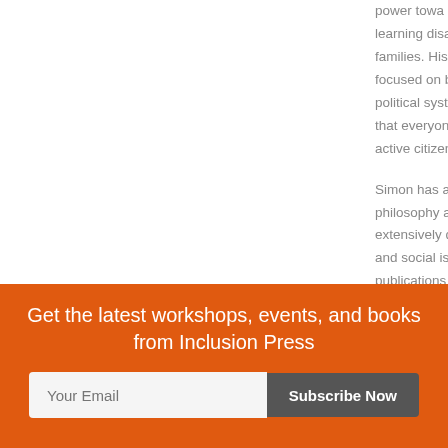power towa learning disa families. His b focused on b political syst that everyon active citizen
Simon has a philosophy a extensively d and social iss publications
Get the latest workshops, events, and books from Inclusion Press